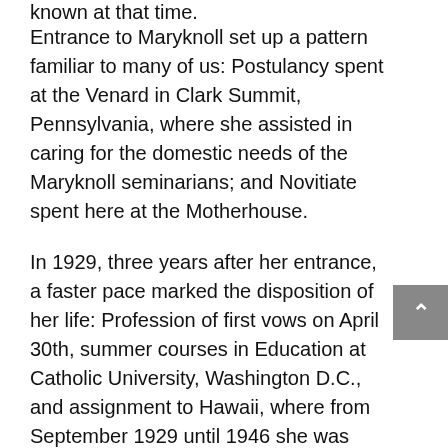known at that time. Entrance to Maryknoll set up a pattern familiar to many of us: Postulancy spent at the Venard in Clark Summit, Pennsylvania, where she assisted in caring for the domestic needs of the Maryknoll seminarians; and Novitiate spent here at the Motherhouse. In 1929, three years after her entrance, a faster pace marked the disposition of her life: Profession of first vows on April 30th, summer courses in Education at Catholic University, Washington D.C., and assignment to Hawaii, where from September 1929 until 1946 she was engaged in education of young persons in the grammar grades both in Kalihi Kai and Heeia. Organ and piano lessons were part of her gift to the students and Sisters. Sister Marian made her final profession of vows in Honolulu on April 30, 1932.